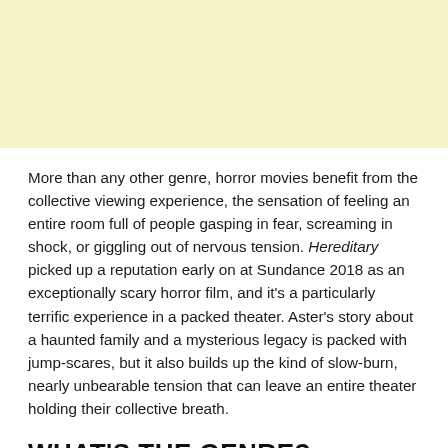[Figure (other): Light yellow background block occupying top portion of the page]
More than any other genre, horror movies benefit from the collective viewing experience, the sensation of feeling an entire room full of people gasping in fear, screaming in shock, or giggling out of nervous tension. Hereditary picked up a reputation early on at Sundance 2018 as an exceptionally scary horror film, and it's a particularly terrific experience in a packed theater. Aster's story about a haunted family and a mysterious legacy is packed with jump-scares, but it also builds up the kind of slow-burn, nearly unbearable tension that can leave an entire theater holding their collective breath.
WHAT'S THE GENRE?